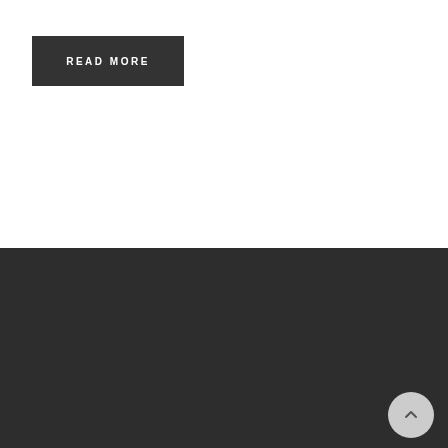READ MORE
RECENT POSTS
Flexo's (A)live 🎸🎸🎸🎸
Flexo's getting heated 🔥 -winter temps rising in Canberra 🌡️